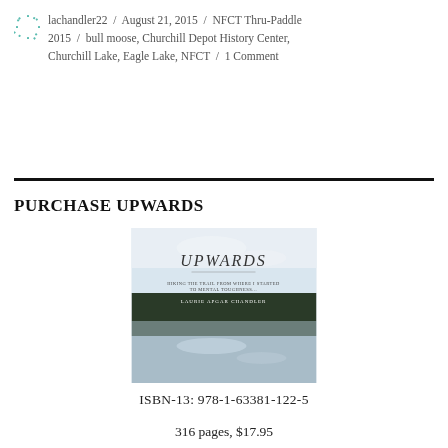lachandler22 / August 21, 2015 / NFCT Thru-Paddle 2015 / bull moose, Churchill Depot History Center, Churchill Lake, Eagle Lake, NFCT / 1 Comment
PURCHASE UPWARDS
[Figure (photo): Book cover of 'UPWARDS' showing a lake scene with treeline and sky reflected in calm water, with subtitle text and author name 'LAURIE APGAR CHANDLER']
ISBN-13: 978-1-63381-122-5
316 pages, $17.95